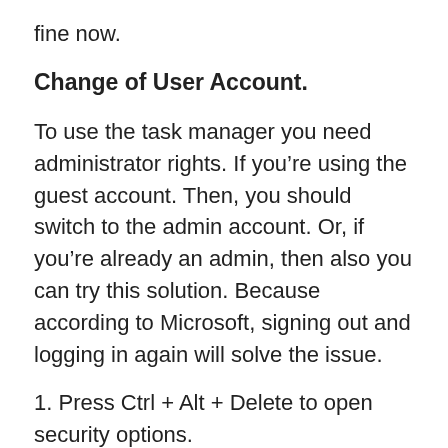fine now.
Change of User Account.
To use the task manager you need administrator rights. If you’re using the guest account. Then, you should switch to the admin account. Or, if you’re already an admin, then also you can try this solution. Because according to Microsoft, signing out and logging in again will solve the issue.
1. Press Ctrl + Alt + Delete to open security options.
2. You“ll able to see the Switch user and sign out option.
If you have another admin account, click on switch user. And login from that account. Or, if not, then use a sign-